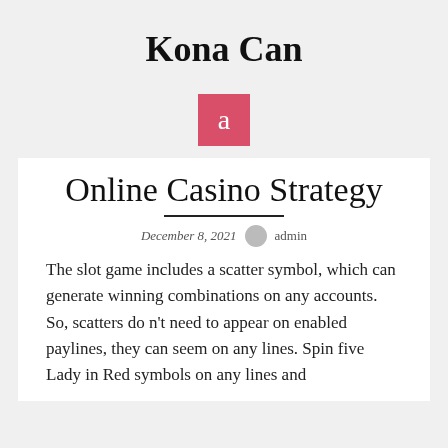Kona Can
[Figure (other): Pink/red square avatar icon with letter 'a' in white]
Online Casino Strategy
December 8, 2021  admin
The slot game includes a scatter symbol, which can generate winning combinations on any accounts. So, scatters do n't need to appear on enabled paylines, they can seem on any lines. Spin five Lady in Red symbols on any lines and